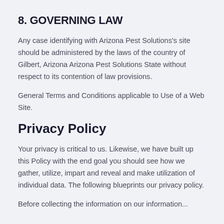8. GOVERNING LAW
Any case identifying with Arizona Pest Solutions’s site should be administered by the laws of the country of Gilbert, Arizona Arizona Pest Solutions State without respect to its contention of law provisions.
General Terms and Conditions applicable to Use of a Web Site.
Privacy Policy
Your privacy is critical to us. Likewise, we have built up this Policy with the end goal you should see how we gather, utilize, impart and reveal and make utilization of individual data. The following blueprints our privacy policy.
Before collecting the information on our information...